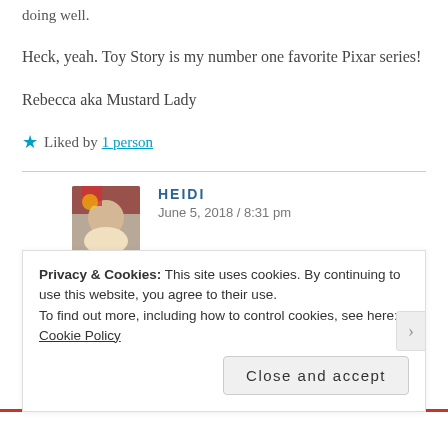doing well.
Heck, yeah. Toy Story is my number one favorite Pixar series!
Rebecca aka Mustard Lady
★ Liked by 1 person
HEIDI
June 5, 2018 / 8:31 pm
Thanks! I am, hope you're doing great. 🙂 I'm super excited
Privacy & Cookies: This site uses cookies. By continuing to use this website, you agree to their use.
To find out more, including how to control cookies, see here: Cookie Policy
Close and accept